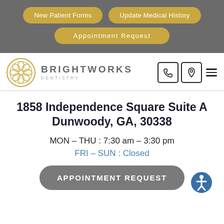[Figure (screenshot): Navigation bar with three buttons: New Patient Forms, Update Medical History, Appointment Request on a gray background]
[Figure (logo): Brightworks Dentistry logo with circular ornamental icon and text BRIGHTWORKS DENTISTRY, plus phone icon, location pin icon, and hamburger menu]
1858 Independence Square Suite A Dunwoody, GA, 30338
MON – THU : 7:30 am – 3:30 pm
FRI – SUN : Closed
[Figure (other): Gray rounded rectangle button labeled APPOINTMENT REQUEST with accessibility icon in bottom right]